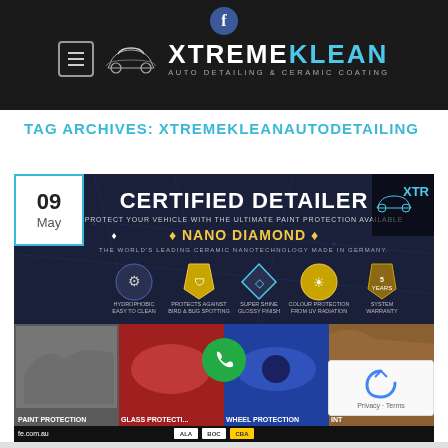XTREME KLEAN AUTO DETAILING & CERAMIC COATING
TAG ARCHIVES: XTREMEKLEANAUTODETAILING
[Figure (screenshot): Xtreme Klean certified detailer promotional image showing Nano Diamond paint protection branding, five feature icons (hydrophobic/easy to clean, protects against bird & bug spotting, super shine glossy finish, colour protection from UV radiation, system warranty), and a photo strip with paint protection, glass protection, wheel protection, and interior sections. Date badge shows 09 May. Phone call button overlay. CAPTCHA/reCAPTCHA overlay bottom right. Website URL fe.com.au and brand logos (ALA, BOC, CBA) in footer.]